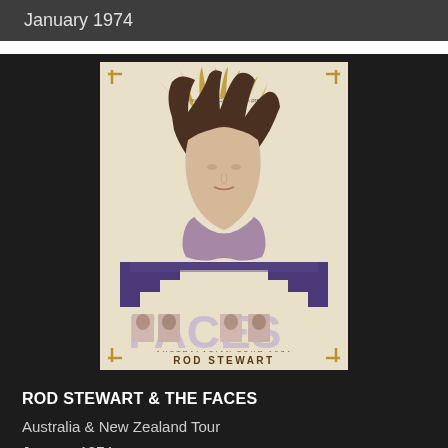January 1974
[Figure (illustration): Concert tour poster for Rod Stewart & The Faces Australasian Tour 1974. Features a stylized illustration of Rod Stewart with wild hair above a purple Art Deco geometric shape. The letters FACES appear large in the middle with band member photos inside the letters. Below reads ROD STEWART. At the bottom text reads AUSTRALASIAN TOUR 1974. Cream/beige background with gold corner bracket decorations.]
ROD STEWART & THE FACES
Australia & New Zealand Tour
January 1974